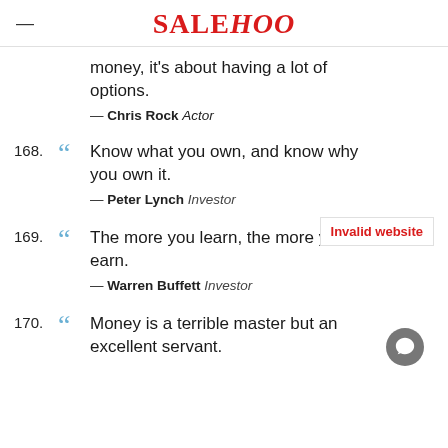SALEHOO
money, it's about having a lot of options.
— Chris Rock Actor
168. Know what you own, and know why you own it. — Peter Lynch Investor
169. The more you learn, the more you earn. — Warren Buffett Investor
170. Money is a terrible master but an excellent servant.